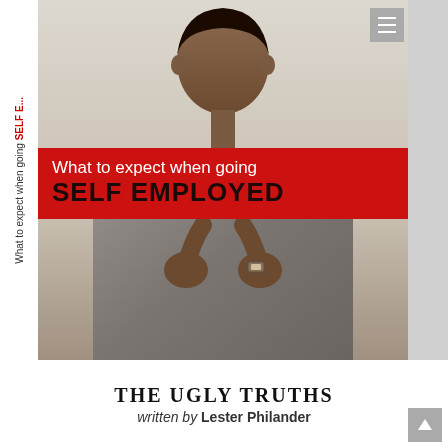[Figure (illustration): Book cover showing a man in a grey suit holding his lapels, with a red banner overlay containing the book title. Left spine shows rotated title text. Bottom white area shows subtitle and author name.]
What to expect when going SELF EMPLOYED
THE UGLY TRUTHS
written by Lester Philander